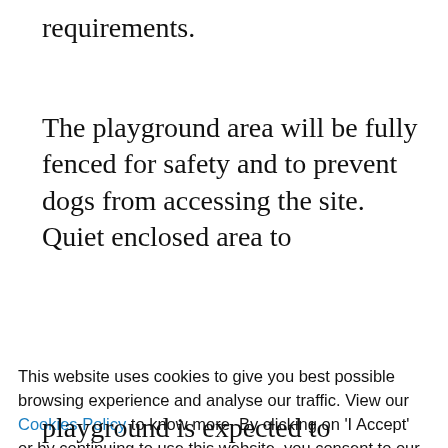requirements.
The playground area will be fully fenced for safety and to prevent dogs from accessing the site. Quiet enclosed area to
This website uses cookies to give you best possible browsing experience and analyse our traffic. View our Cookies Policy to know more. By clicking on 'I Accept' or by continuing to use this website, you consent to our use of cookies.
Learn more
I ACCEPT
playground is expected to